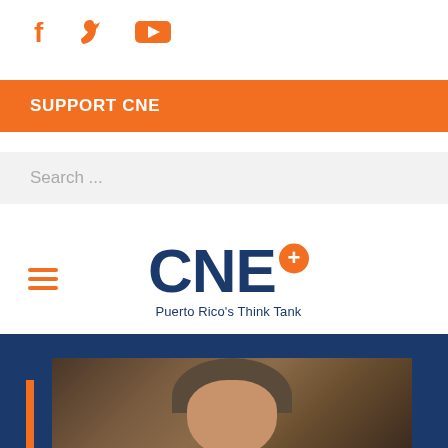[Figure (screenshot): Social media icons: Facebook (f), Twitter (bird), YouTube (play button) in orange]
SUPPORT CNE
Search ...
[Figure (logo): CNE+ Puerto Rico's Think Tank logo — dark blue bold letters CNE with orange circle plus sign, tagline Puerto Rico's Think Tank below]
[Figure (photo): Partial photo of a man with dark gray hair on a dark blue background with orange accent bar on left edge]